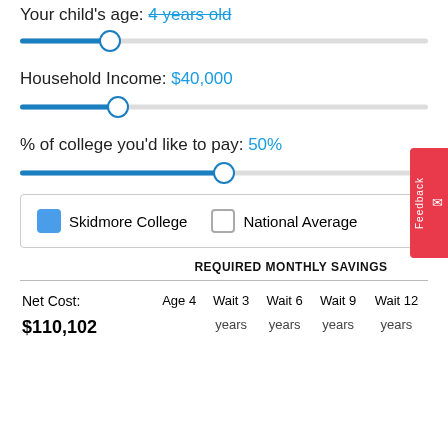Your child's age: 4 years old
[Figure (other): Slider for child's age, set to approximately position 1/4 of the way]
Household Income: $40,000
[Figure (other): Slider for household income, set to approximately position 1/4 of the way]
% of college you'd like to pay: 50%
[Figure (other): Slider for % of college to pay, set to approximately midpoint]
Skidmore College  National Average (legend with checkboxes)
| Net Cost: | Age 4 | Wait 3 years | Wait 6 years | Wait 9 years | Wait 12 years |
| --- | --- | --- | --- | --- | --- |
| $110,102 |  | years | years | years | years |